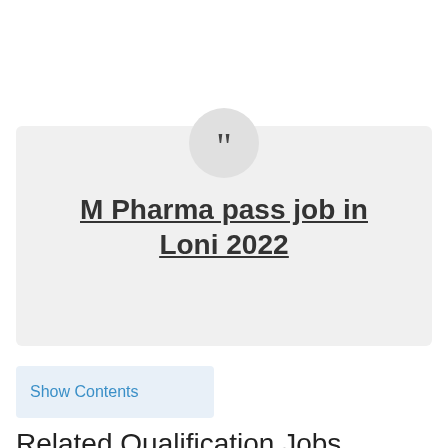M Pharma pass job in Loni 2022
Show Contents
Related Qualification Jobs
CMSS General Manager, Manager, Pharmacists